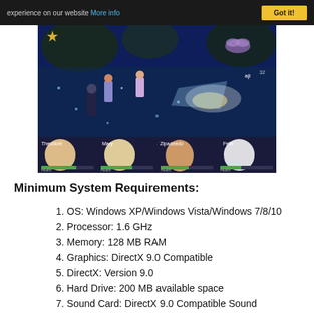experience on our website More info  Got it!
[Figure (screenshot): A fantasy RPG game screenshot showing a battle scene with multiple characters on a blue-toned map. Four character portraits visible at the bottom labeled Theodore, Mary, Zipadeedo, and Felix with Health bars.]
Minimum System Requirements:
1. OS: Windows XP/Windows Vista/Windows 7/8/10
2. Processor: 1.6 GHz
3. Memory: 128 MB RAM
4. Graphics: DirectX 9.0 Compatible
5. DirectX: Version 9.0
6. Hard Drive: 200 MB available space
7. Sound Card: DirectX 9.0 Compatible Sound